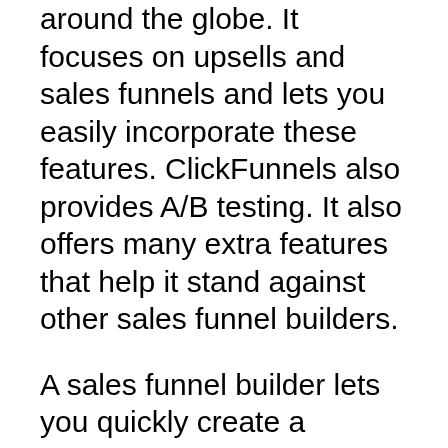around the globe. It focuses on upsells and sales funnels and lets you easily incorporate these features. ClickFunnels also provides A/B testing. It also offers many extra features that help it stand against other sales funnel builders.
A sales funnel builder lets you quickly create a structured sales process in your business. It also allows you to add pages on your website and automate the process of retargeting. It converts visitors to paying customers and collects leads. There are many things to be aware of regarding funnel building software. Understanding how to utilize it and how you can choose the best product for you business is key to your success. It can help improve your sales